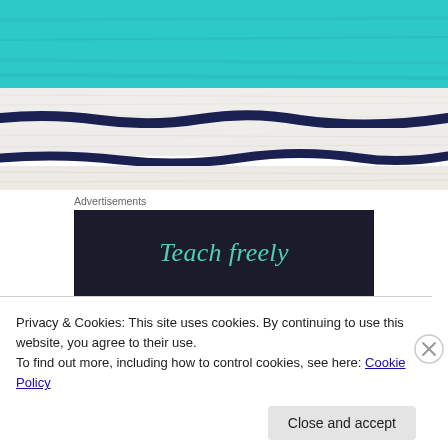[Figure (photo): Close-up photo of a striped towel fabric with turquoise/teal, white, and navy blue horizontal stripes]
Advertisements
[Figure (other): Dark navy advertisement banner with teal serif text reading 'Teach freely']
Privacy & Cookies: This site uses cookies. By continuing to use this website, you agree to their use.
To find out more, including how to control cookies, see here: Cookie Policy
Close and accept